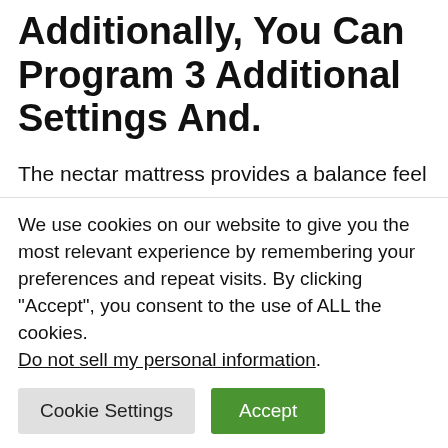Additionally, You Can Program 3 Additional Settings And.
The nectar mattress provides a balance feel the typical user will be more than satisfied with. This bed frame doesn’t come with a headboard, but there is a metal bar and the bottom to hold your mattress in place. This
We use cookies on our website to give you the most relevant experience by remembering your preferences and repeat visits. By clicking “Accept”, you consent to the use of ALL the cookies. Do not sell my personal information.
Cookie Settings | Accept